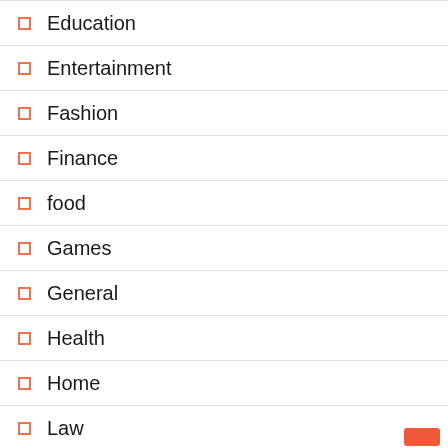Education
Entertainment
Fashion
Finance
food
Games
General
Health
Home
Law